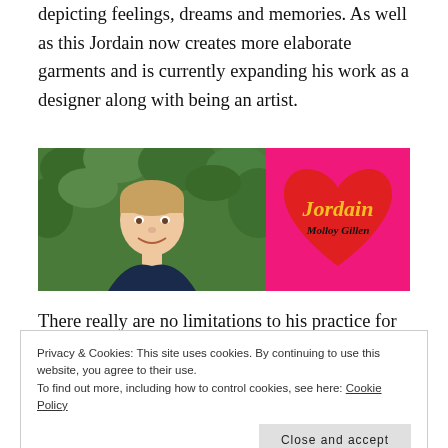depicting feelings, dreams and memories. As well as this Jordain now creates more elaborate garments and is currently expanding his work as a designer along with being an artist.
[Figure (photo): Two side-by-side images: left is a photo of a young man with short blonde hair smiling in front of green leaves; right is a pink square logo with a red heart and the script text 'Jordain Molloy Gillen']
There really are no limitations to his practice for
Privacy & Cookies: This site uses cookies. By continuing to use this website, you agree to their use. To find out more, including how to control cookies, see here: Cookie Policy
Close and accept
experimenting with your art, for art is to be